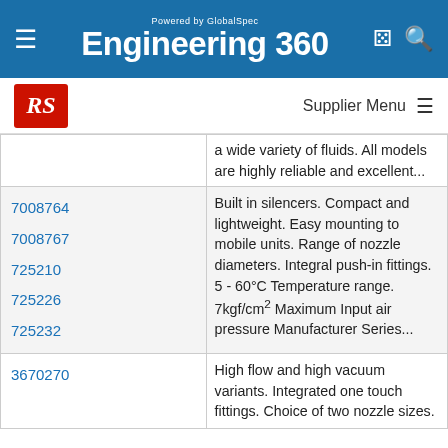Powered by GlobalSpec Engineering 360
[Figure (logo): RS Components supplier logo]
Supplier Menu
a wide variety of fluids. All models are highly reliable and excellent...
7008764
7008767
725210
725226
725232
Built in silencers. Compact and lightweight. Easy mounting to mobile units. Range of nozzle diameters. Integral push-in fittings. 5 - 60°C Temperature range. 7kgf/cm² Maximum Input air pressure Manufacturer Series...
3670270
High flow and high vacuum variants. Integrated one touch fittings. Choice of two nozzle sizes.